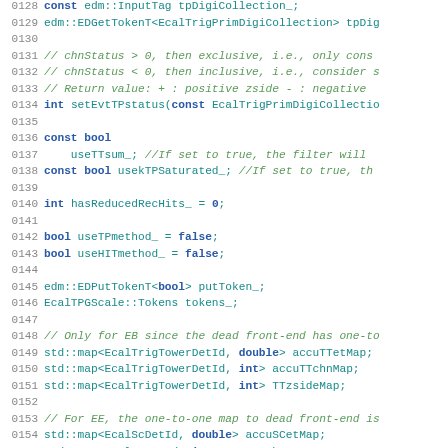Source code listing lines 0128-0157, C++ code for ECAL trigger primitive filter